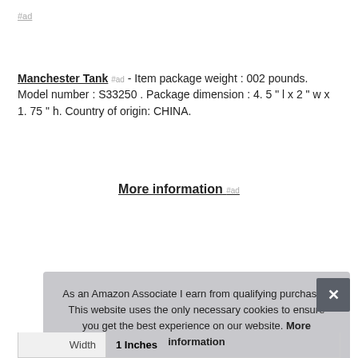#ad
Manchester Tank #ad - Item package weight : 002 pounds. Model number : S33250 . Package dimension : 4. 5 " l x 2 " w x 1. 75 " h. Country of origin: CHINA.
More information #ad
|  |  |
| --- | --- |
| Brand | Manchester Tank #ad |
| Manufacturer | Manchester Tank #ad |
| Width | 1 Inches |
As an Amazon Associate I earn from qualifying purchases. This website uses the only necessary cookies to ensure you get the best experience on our website. More information